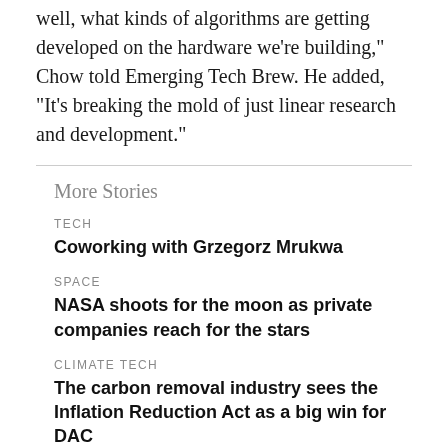well, what kinds of algorithms are getting developed on the hardware we're building,” Chow told Emerging Tech Brew. He added, “It’s breaking the mold of just linear research and development.”
More Stories
TECH
Coworking with Grzegorz Mrukwa
SPACE
NASA shoots for the moon as private companies reach for the stars
CLIMATE TECH
The carbon removal industry sees the Inflation Reduction Act as a big win for DAC
When walking around the IBM quantum campus with